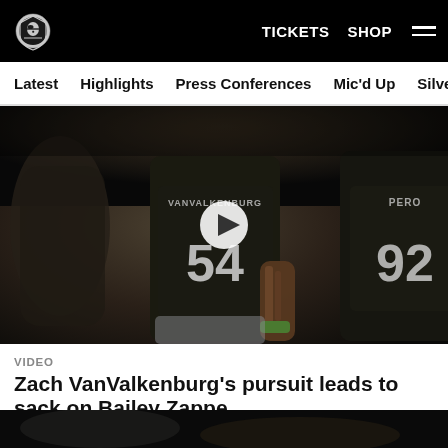TICKETS  SHOP  ☰
Latest  Highlights  Press Conferences  Mic'd Up  Silver & Black
[Figure (photo): Raiders defensive players wearing jerseys #54 (VanValkenburg) and #92 (Pero) on the field. A play button overlay is visible in the center of the image.]
VIDEO
Zach VanValkenburg's pursuit leads to sack on Bailey Zappe
Watch as the Raiders defense breaks through the line and defensive end Zach VanValkenburg sacks Patriots quarterback Bailey Zappe late in the third quarter.
[Figure (photo): Partial view of a Raiders player on the field, bottom strip of the page.]